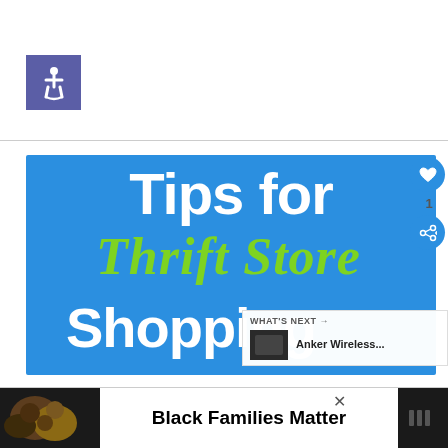[Figure (illustration): Accessibility wheelchair symbol icon in white on a purple/blue square background]
[Figure (infographic): Blue background infographic image with text: 'Tips for Thrift Store Shopping' — 'Tips for' in large white bold text, 'Thrift Store' in large green italic script, 'Shopping' in large white bold text]
1
WHAT'S NEXT → Anker Wireless...
Black Families Matter